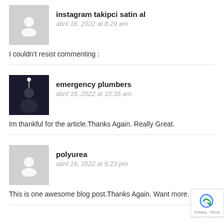[Figure (illustration): Gray placeholder avatar icon for user instagram takipci satin al]
instagram takipci satin al
abril 16, 2022 at 8:29 am
I couldn't resist commenting :
[Figure (photo): Dark photo of a person holding a trophy, avatar for emergency plumbers]
emergency plumbers
abril 16, 2022 at 10:35 am
Im thankful for the article.Thanks Again. Really Great.
[Figure (illustration): Gray placeholder avatar icon for user polyurea]
polyurea
abril 16, 2022 at 6:23 pm
This is one awesome blog post.Thanks Again. Want more.